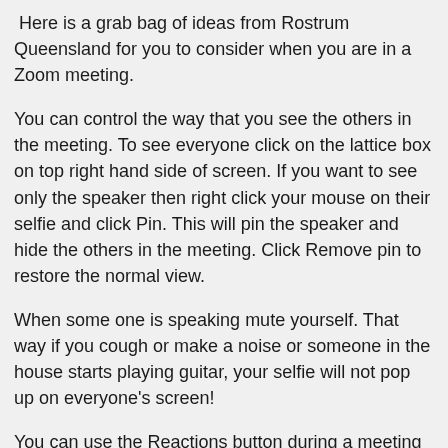Here is a grab bag of ideas from Rostrum Queensland for you to consider when you are in a Zoom meeting.
You can control the way that you see the others in the meeting. To see everyone click on the lattice box on top right hand side of screen. If you want to see only the speaker then right click your mouse on their selfie and click Pin. This will pin the speaker and hide the others in the meeting. Click Remove pin to restore the normal view.
When some one is speaking mute yourself. That way if you cough or make a noise or someone in the house starts playing guitar, your selfie will not pop up on everyone's screen!
You can use the Reactions button during a meeting and click on the put hand up if wish to speak. Take note that if the others in the meeting have pinned the speaker they may not see that you have put your hand up.
If you want to move your selfie to the top of everyone's